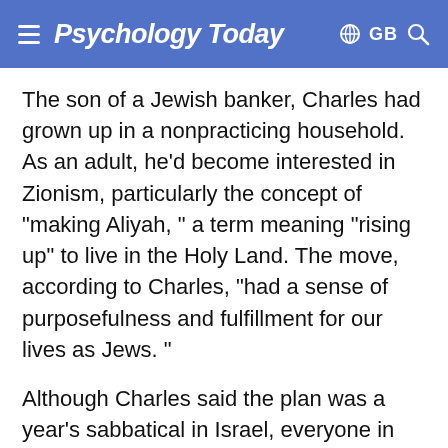Psychology Today  GB
The son of a Jewish banker, Charles had grown up in a nonpracticing household. As an adult, he'd become interested in Zionism, particularly the concept of "making Aliyah, " a term meaning "rising up" to live in the Holy Land. The move, according to Charles, "had a sense of purposefulness and fulfillment for our lives as Jews. "
Although Charles said the plan was a year's sabbatical in Israel, everyone in the family sensed his desire to relocate permanently; no one, including Peggy, who was building her career as a pediatrician, wanted to move. When Danny found